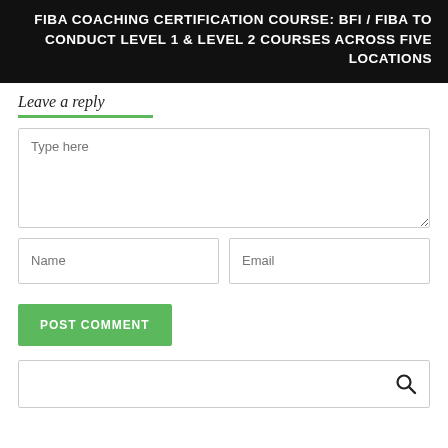FIBA COACHING CERTIFICATION COURSE: BFI / FIBA TO CONDUCT LEVEL 1 & LEVEL 2 COURSES ACROSS FIVE LOCATIONS
Leave a reply
Type here
Name
Email
POST COMMENT